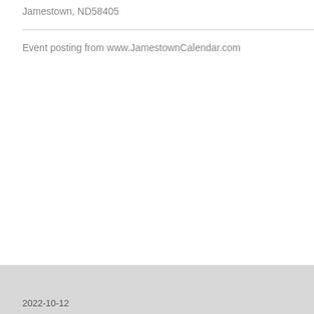Jamestown, ND58405
Event posting from www.JamestownCalendar.com
2022-10-12